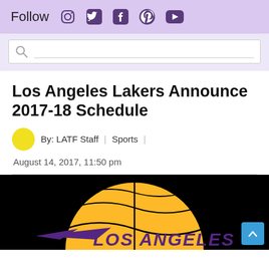Follow [Instagram] [Twitter] [Facebook] [Pinterest] [YouTube]
[Search bar]
Los Angeles Lakers Announce 2017-18 Schedule
By: LATF Staff | Sports |
August 14, 2017, 11:50 pm
[Figure (photo): Los Angeles Lakers logo — gold basketball with 'LOS ANGELES' text in purple on black background]